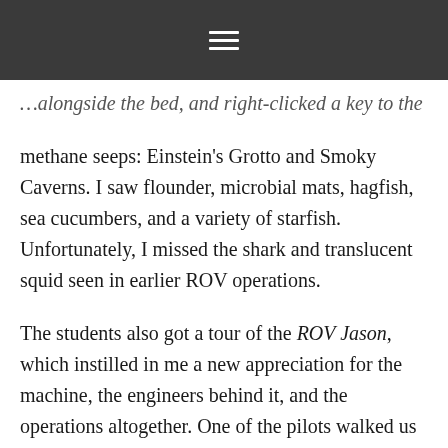≡
…alongside the bed, and right-clicked a key to the methane seeps: Einstein's Grotto and Smoky Caverns. I saw flounder, microbial mats, hagfish, sea cucumbers, and a variety of starfish. Unfortunately, I missed the shark and translucent squid seen in earlier ROV operations.
The students also got a tour of the ROV Jason, which instilled in me a new appreciation for the machine, the engineers behind it, and the operations altogether. One of the pilots walked us through all the cameras and scientific instruments, such as a CTD (measuring